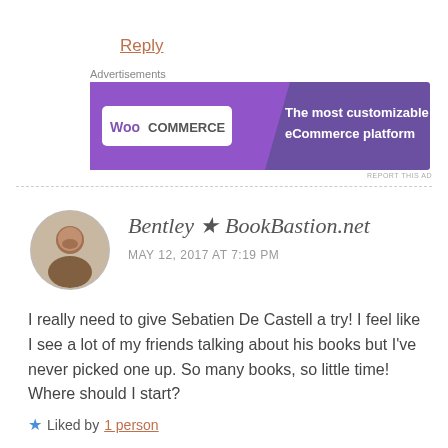Reply
[Figure (screenshot): WooCommerce advertisement banner with purple background. Left side has lighter purple with WooCommerce logo, right side says 'The most customizable eCommerce platform']
REPORT THIS AD
Bentley ★ BookBastion.net
MAY 12, 2017 AT 7:19 PM
I really need to give Sebatien De Castell a try! I feel like I see a lot of my friends talking about his books but I've never picked one up. So many books, so little time! Where should I start?
Liked by 1 person